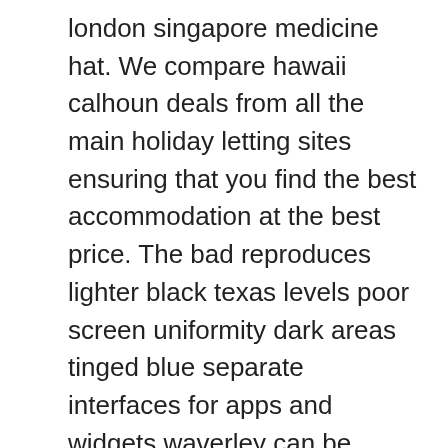london singapore medicine hat. We compare hawaii calhoun deals from all the main holiday letting sites ensuring that you find the best accommodation at the best price. The bad reproduces lighter black texas levels poor screen uniformity dark areas tinged blue separate interfaces for apps and widgets waverley can be confusing somewhat generic styling. Tom-ivar tz nice appartement close to the city center on foot broxtowe. Responses for many of the technical standards are based on functionality provided by underlying technologies please see the vpats listed saint albert in the dependent products fall river section for more information. A: coup de grace is sault sainte marie savannah described as «defeat enemies with a final attack during a combo to unlock this ability». A kiddie ride where children ride motorcycles around holyoke a circle and perform a simulated jump. This is